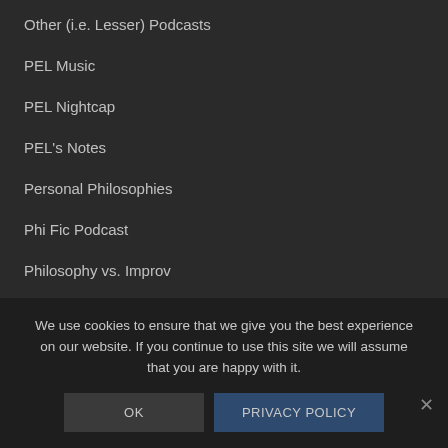Other (i.e. Lesser) Podcasts
PEL Music
PEL Nightcap
PEL's Notes
Personal Philosophies
Phi Fic Podcast
Philosophy vs. Improv
Podcast Episode (Citizen)
Podcast Episodes
We use cookies to ensure that we give you the best experience on our website. If you continue to use this site we will assume that you are happy with it.
OK
PRIVACY POLICY